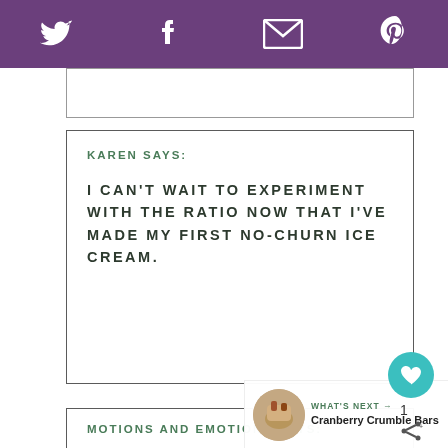Social share bar with Twitter, Facebook, Email, Pinterest icons
KAREN SAYS:

I CAN'T WAIT TO EXPERIMENT WITH THE RATIO NOW THAT I'VE MADE MY FIRST NO-CHURN ICE CREAM.
MOTIONS AND EMOTIONS SAYS:

WOW THIS LOOKS AWESOME...I LIKED THE USE OF HEALTH BARS INTO THE ICE
[Figure (other): What's Next panel showing Cranberry Crumble Bars with thumbnail image]